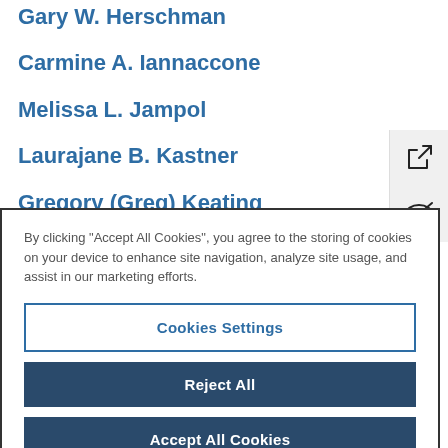Gary W. Herschman
Carmine A. Iannaccone
Melissa L. Jampol
Laurajane B. Kastner
Gregory (Greg) Keating
By clicking "Accept All Cookies", you agree to the storing of cookies on your device to enhance site navigation, analyze site usage, and assist in our marketing efforts.
Cookies Settings
Reject All
Accept All Cookies